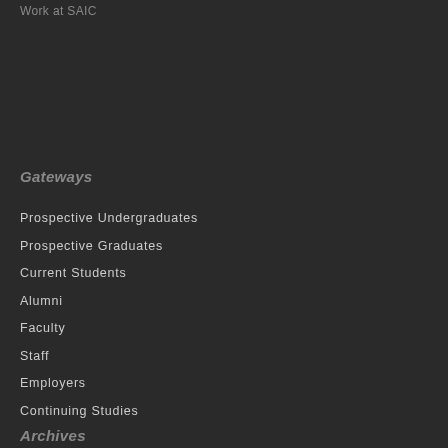Work at SAIC
Gateways
Prospective Undergraduates
Prospective Graduates
Current Students
Alumni
Faculty
Staff
Employers
Continuing Studies
Archives